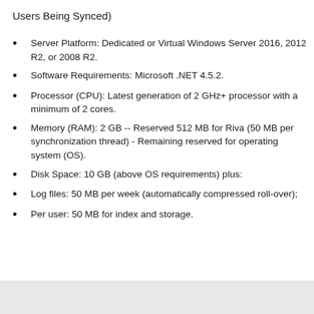Users Being Synced)
Server Platform: Dedicated or Virtual Windows Server 2016, 2012 R2, or 2008 R2.
Software Requirements: Microsoft .NET 4.5.2.
Processor (CPU): Latest generation of 2 GHz+ processor with a minimum of 2 cores.
Memory (RAM): 2 GB -- Reserved 512 MB for Riva (50 MB per synchronization thread) - Remaining reserved for operating system (OS).
Disk Space: 10 GB (above OS requirements) plus:
Log files: 50 MB per week (automatically compressed roll-over);
Per user: 50 MB for index and storage.